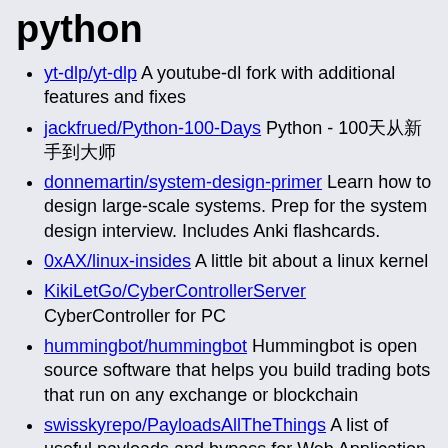python
yt-dlp/yt-dlp A youtube-dl fork with additional features and fixes
jackfrued/Python-100-Days Python - 100天从新手到大师
donnemartin/system-design-primer Learn how to design large-scale systems. Prep for the system design interview. Includes Anki flashcards.
0xAX/linux-insides A little bit about a linux kernel
KikiLetGo/CyberControllerServer CyberController for PC
hummingbot/hummingbot Hummingbot is open source software that helps you build trading bots that run on any exchange or blockchain
swisskyrepo/PayloadsAllTheThings A list of useful payloads and bypass for Web Application Security and Pentest/CTF
NannyML/nannyml Detecting silent model failure. NannyML estimates performance with an algorithm called Confidence-based Performance estimation (CBPE), developed by core contributors. It is the only open-source algorithm capable of fully capturing the impact of data drift on performance.
eth-brownie/brownie A Python-based development